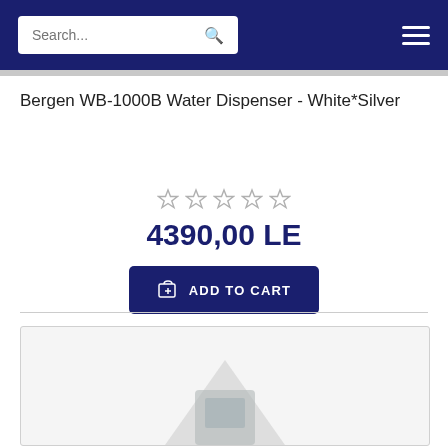Search... [navigation bar with search and menu]
Bergen WB-1000B Water Dispenser - White*Silver
[Figure (other): Five empty star rating icons (0 out of 5 stars)]
4390,00 LE
[Figure (other): Add to cart button with shopping cart icon]
[Figure (photo): Product image of Bergen WB-1000B Water Dispenser, partially visible at bottom of page]